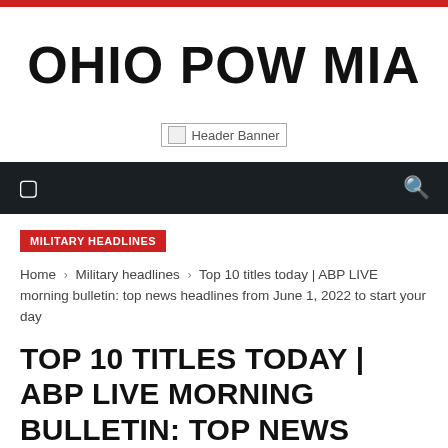OHIO POW MIA
[Figure (other): Header Banner placeholder image]
MILITARY HEADLINES
Home › Military headlines › Top 10 titles today | ABP LIVE morning bulletin: top news headlines from June 1, 2022 to start your day
TOP 10 TITLES TODAY | ABP LIVE MORNING BULLETIN: TOP NEWS HEADLINES FROM JUNE 1, 2022 TO